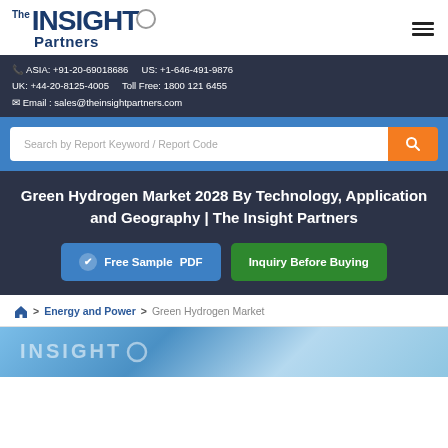The INSIGHT Partners
ASIA: +91-20-69018686  US: +1-646-491-9876  UK: +44-20-8125-4005  Toll Free: 1800 121 6455  Email : sales@theinsightpartners.com
Search by Report Keyword / Report Code
Green Hydrogen Market 2028 By Technology, Application and Geography | The Insight Partners
Free Sample PDF
Inquiry Before Buying
Home > Energy and Power > Green Hydrogen Market
[Figure (photo): Preview of The Insight Partners branded report cover]